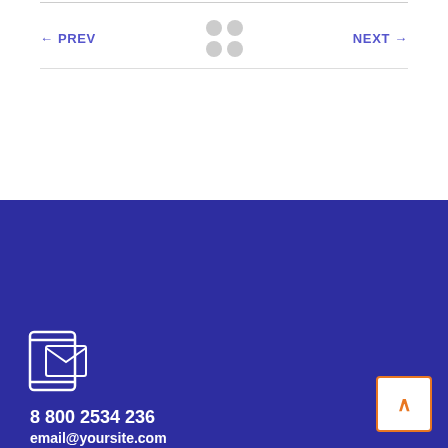PREV | NEXT navigation bar with dots icon
[Figure (logo): ewebot logo — orange circular map-pin/speech-bubble icon with white circle inside, followed by white text 'ewebot' on dark blue background]
[Figure (illustration): Contact icon: outline drawing of a mobile device and envelope/mail on dark blue background]
8 800 2534 236
email@yoursite.com